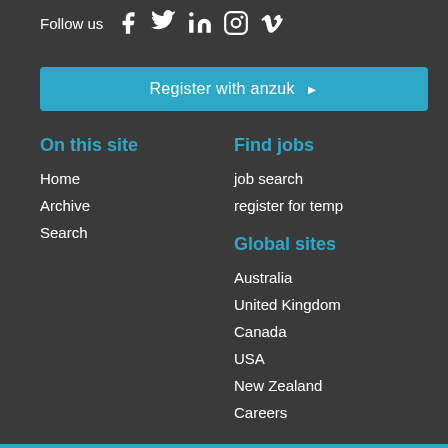Follow us
[Figure (illustration): Social media icons: Facebook, Twitter, LinkedIn, Instagram, Vimeo]
Register with anzuk ▶
On this site
Home
Archive
Search
Find jobs
job search
register for temp
Global sites
Australia
United Kingdom
Canada
USA
New Zealand
Careers